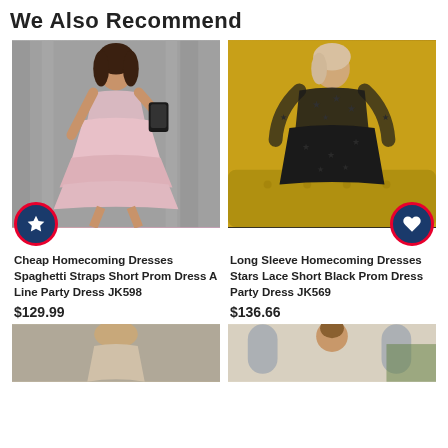We Also Recommend
[Figure (photo): Woman wearing a pink layered short prom dress with spaghetti straps, selfie photo]
[Figure (photo): Woman wearing a black long sleeve lace dress with star pattern, sitting on yellow sofa]
Cheap Homecoming Dresses Spaghetti Straps Short Prom Dress A Line Party Dress JK598
$129.99
Long Sleeve Homecoming Dresses Stars Lace Short Black Prom Dress Party Dress JK569
$136.66
[Figure (photo): Partial view of another dress product, bottom of page left]
[Figure (photo): Partial view of another dress product, bottom of page right]